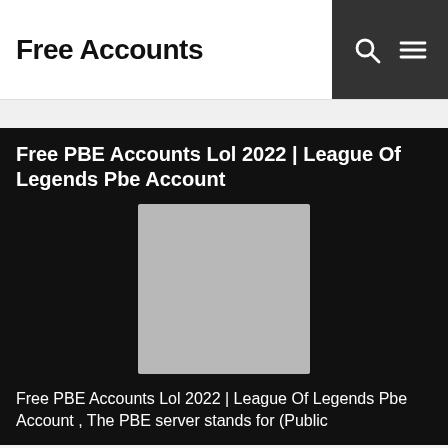Free Accounts
Free PBE Accounts Lol 2022 | League Of Legends Pbe Account
[Figure (photo): Gray placeholder image for Free PBE Accounts Lol 2022 article]
Free PBE Accounts Lol 2022 | League Of Legends Pbe Account , The PBE server stands for (Public